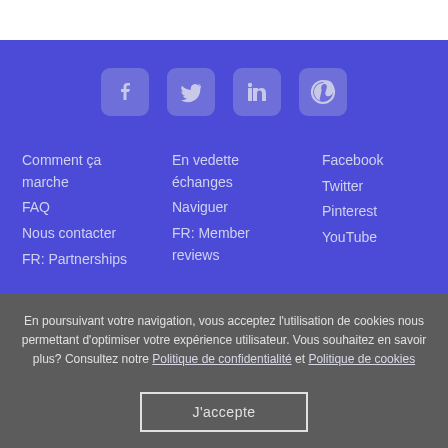[Figure (other): Social media icons row: Facebook, Twitter, LinkedIn, Pinterest on purple background]
Comment ça marche
FAQ
Nous contacter
FR: Partnerships
En vedette échanges
Naviguer
FR: Member reviews
Facebook
Twitter
Pinterest
YouTube
En poursuivant votre navigation, vous acceptez l'utilisation de cookies nous permettant d'optimiser votre expérience utilisateur. Vous souhaitez en savoir plus? Consultez notre Politique de confidentialité et Politique de cookies
J'accepte